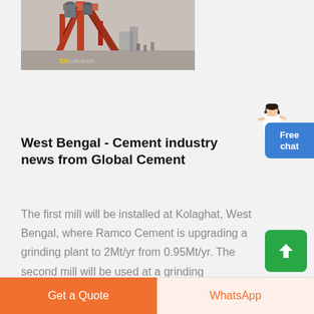[Figure (photo): Industrial cement grinding plant or crusher facility with crane/conveyor structure, orange/red metal framework, workers visible in background, CN Crusher watermark]
West Bengal - Cement industry news from Global Cement
The first mill will be installed at Kolaghat, West Bengal, where Ramco Cement is upgrading a grinding plant to 2Mt/yr from 0.95Mt/yr. The second mill will be used at a grinding
Get a Quote | WhatsApp